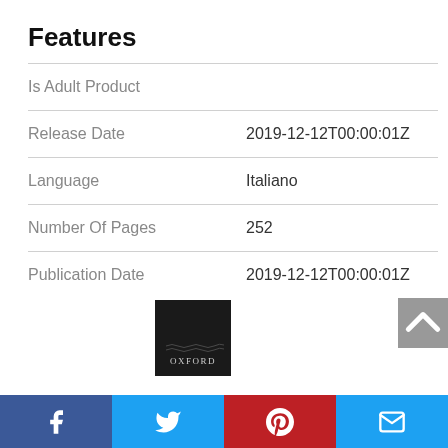Features
|  |  |
| --- | --- |
| Is Adult Product |  |
| Release Date | 2019-12-12T00:00:01Z |
| Language | Italiano |
| Number Of Pages | 252 |
| Publication Date | 2019-12-12T00:00:01Z |
[Figure (logo): Oxford University Press logo — dark background with 'OXFORD' text]
Facebook | Twitter | Pinterest | Email share bar